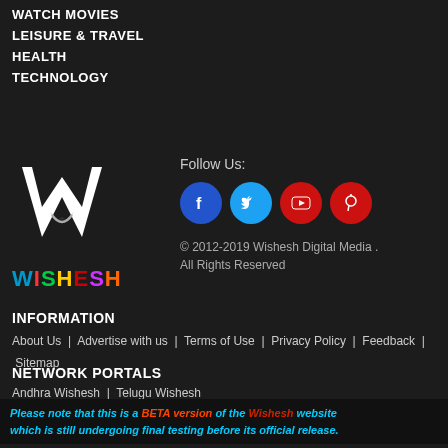WATCH MOVIES
LEISURE & TRAVEL
HEALTH
TECHNOLOGY
[Figure (logo): Wishesh logo: white W with swoosh mark above colorful WISHESH text]
Follow Us:
[Figure (infographic): Four social media icons: Facebook (blue), Twitter (light blue), YouTube (red), Pinterest (red)]
© 2012-2019 Wishesh Digital Media . All Rights Reserved
INFORMATION
About Us  |  Advertise with us  |  Terms of Use  |  Privacy Policy  |  Feedback  |  Sitemap
NETWORK PORTALS
Andhra Wishesh  |  Telugu Wishesh
Please note that this is a BETA version of the Wishesh website which is still undergoing final testing before its official release.